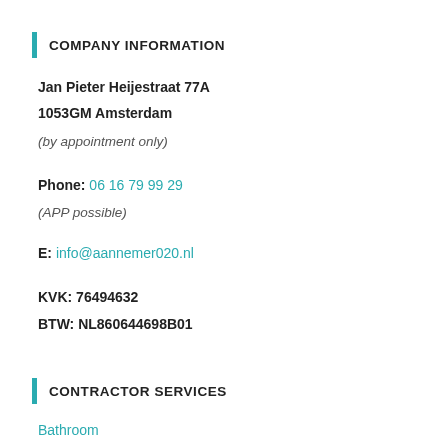COMPANY INFORMATION
Jan Pieter Heijestraat 77A
1053GM Amsterdam
(by appointment only)
Phone: 06 16 79 99 29
(APP possible)
E: info@aannemer020.nl
KVK: 76494632
BTW: NL860644698B01
CONTRACTOR SERVICES
Bathroom